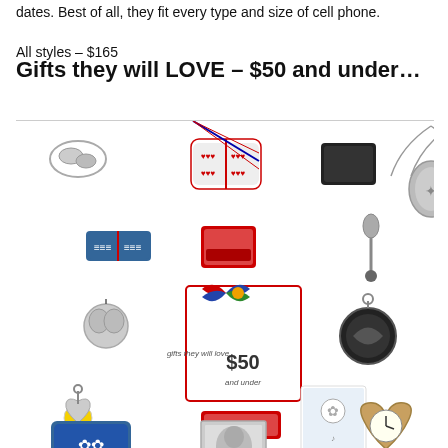dates. Best of all, they fit every type and size of cell phone.
All styles – $165
Gifts they will LOVE – $50 and under…
[Figure (photo): Catalog page spread showing Brighton jewelry and accessories gifts under $50 including necklaces, keychains, card cases, wallets, earrings, bracelets, and decorative items arranged in a grid layout with $50 and under promotional badges.]